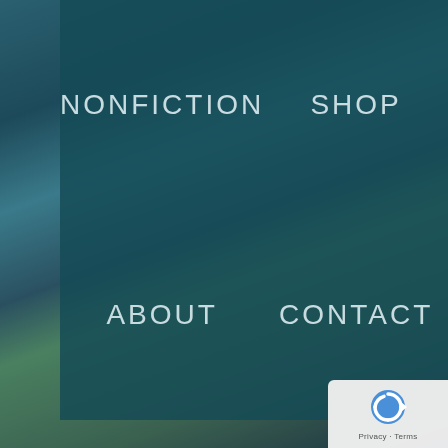NONFICTION   SHOP   ABOUT   CONTACT
Movie Reviews
Rampart (2011)
This is one of those movies you’re probably not going to love, but can easily admire. The script by James Ellroy and the director, Oren Moverman,
TITLES STARTING WITH R
Rabbit-Proof